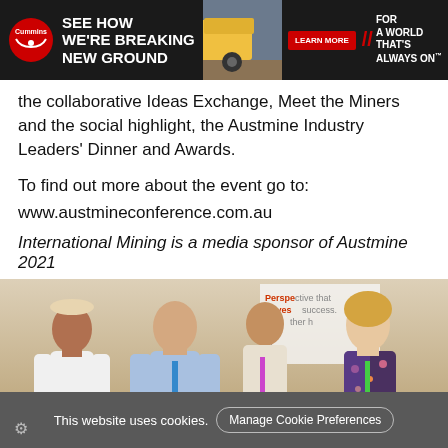[Figure (infographic): Cummins advertisement banner: 'SEE HOW WE'RE BREAKING NEW GROUND' with a mining truck image, 'LEARN MORE' button, and 'FOR A WORLD THAT'S ALWAYS ON' tagline]
the collaborative Ideas Exchange, Meet the Miners and the social highlight, the Austmine Industry Leaders' Dinner and Awards.
To find out more about the event go to:
www.austmineconference.com.au
International Mining is a media sponsor of Austmine 2021
[Figure (photo): Four people standing together at what appears to be a mining conference, with a banner reading 'Perspective that drives success' visible in the background]
This website uses cookies.  Manage Cookie Preferences